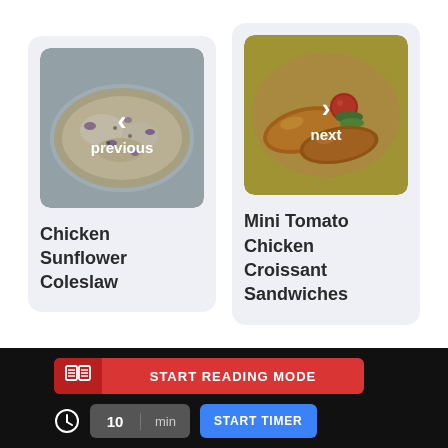[Figure (photo): Previous recipe card showing Chicken Sunflower Coleslaw dish with left navigation arrow overlay]
Chicken Sunflower Coleslaw
[Figure (photo): Next recipe card showing Mini Tomato Chicken Croissant Sandwiches with right navigation arrow overlay]
Mini Tomato Chicken Croissant Sandwiches
START READING MODE
10  min  START TIMER